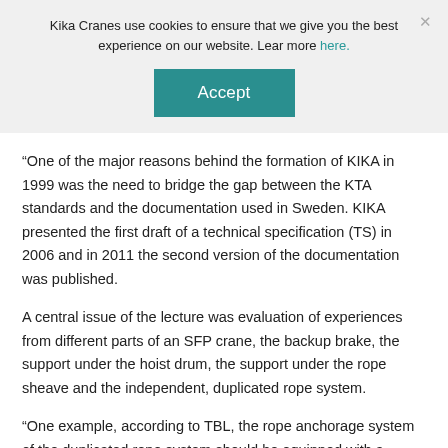Kika Cranes use cookies to ensure that we give you the best experience on our website. Lear more here.
Accept
“One of the major reasons behind the formation of KIKA in 1999 was the need to bridge the gap between the KTA standards and the documentation used in Sweden. KIKA presented the first draft of a technical specification (TS) in 2006 and in 2011 the second version of the documentation was published.
A central issue of the lecture was evaluation of experiences from different parts of an SFP crane, the backup brake, the support under the hoist drum, the support under the rope sheave and the independent, duplicated rope system.
“One example, according to TBL, the rope anchorage system of the duplicated rope system should be equipped with a